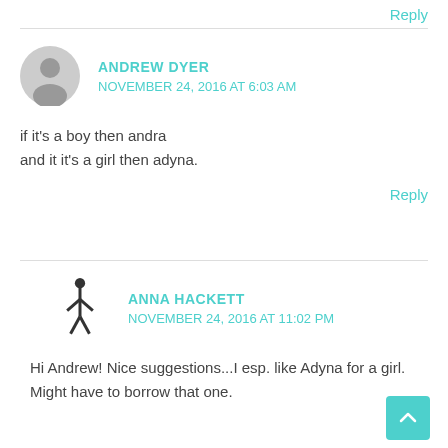(truncated top text)
Reply
ANDREW DYER
NOVEMBER 24, 2016 AT 6:03 AM
if it's a boy then andra
and it it's a girl then adyna.
Reply
ANNA HACKETT
NOVEMBER 24, 2016 AT 11:02 PM
Hi Andrew! Nice suggestions...I esp. like Adyna for a girl. Might have to borrow that one.